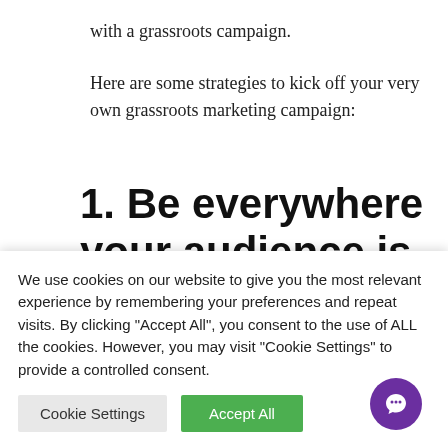with a grassroots campaign.
Here are some strategies to kick off your very own grassroots marketing campaign:
1. Be everywhere your audience is
To be everywhere means that you'll be on
We use cookies on our website to give you the most relevant experience by remembering your preferences and repeat visits. By clicking "Accept All", you consent to the use of ALL the cookies. However, you may visit "Cookie Settings" to provide a controlled consent.